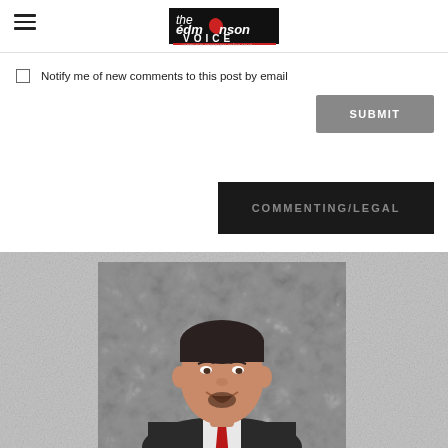the Edmonson Voice
Notify me of new comments to this post by email
SUBMIT
COMMENTING/LEGAL
[Figure (photo): Portrait photo of a man in a dark suit with a red tie and goatee, smiling, against a grey mottled background. The photo is displayed within a textured/noisy light grey panel.]